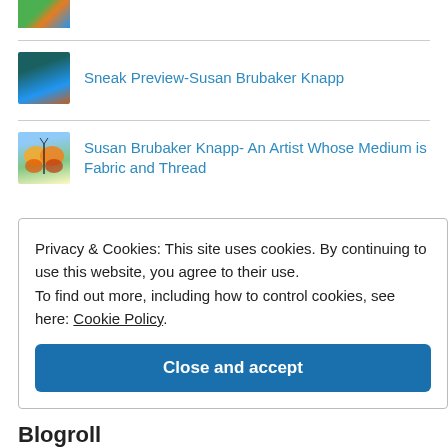[Figure (photo): Small colorful thumbnail image at top left, partially cropped]
Sneak Preview-Susan Brubaker Knapp
Susan Brubaker Knapp- An Artist Whose Medium is Fabric and Thread
Privacy & Cookies: This site uses cookies. By continuing to use this website, you agree to their use.
To find out more, including how to control cookies, see here: Cookie Policy
Close and accept
Blogroll